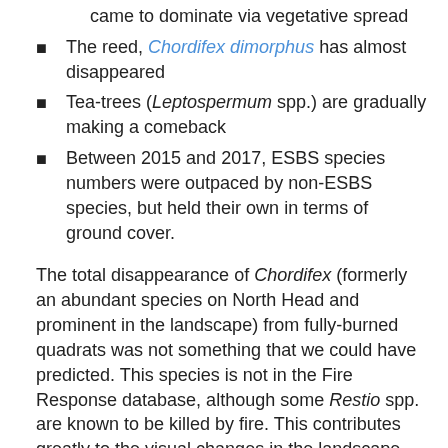came to dominate via vegetative spread
The reed, Chordifex dimorphus has almost disappeared
Tea-trees (Leptospermum spp.) are gradually making a comeback
Between 2015 and 2017, ESBS species numbers were outpaced by non-ESBS species, but held their own in terms of ground cover.
The total disappearance of Chordifex (formerly an abundant species on North Head and prominent in the landscape) from fully-burned quadrats was not something that we could have predicted. This species is not in the Fire Response database, although some Restio spp. are known to be killed by fire. This contributes greatly to the visual changes in the landscape. The great proliferation of Lance Leaf Gahung (Persoonia lanceolata) has also